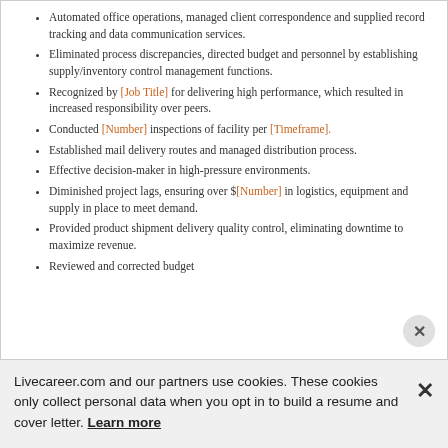Automated office operations, managed client correspondence and supplied record tracking and data communication services.
Eliminated process discrepancies, directed budget and personnel by establishing supply/inventory control management functions.
Recognized by [Job Title] for delivering high performance, which resulted in increased responsibility over peers.
Conducted [Number] inspections of facility per [Timeframe].
Established mail delivery routes and managed distribution process.
Effective decision-maker in high-pressure environments.
Diminished project lags, ensuring over $[Number] in logistics, equipment and supply in place to meet demand.
Provided product shipment delivery quality control, eliminating downtime to maximize revenue.
Reviewed and corrected budget
Livecareer.com and our partners use cookies. These cookies only collect personal data when you opt in to build a resume and cover letter. Learn more